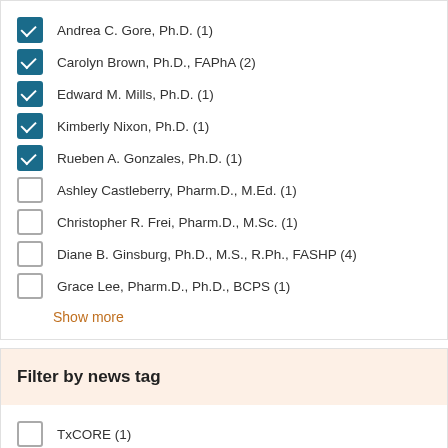Andrea C. Gore, Ph.D. (1)
Carolyn Brown, Ph.D., FAPhA (2)
Edward M. Mills, Ph.D. (1)
Kimberly Nixon, Ph.D. (1)
Rueben A. Gonzales, Ph.D. (1)
Ashley Castleberry, Pharm.D., M.Ed. (1)
Christopher R. Frei, Pharm.D., M.Sc. (1)
Diane B. Ginsburg, Ph.D., M.S., R.Ph., FASHP (4)
Grace Lee, Pharm.D., Ph.D., BCPS (1)
Show more
Filter by news tag
TxCORE (1)